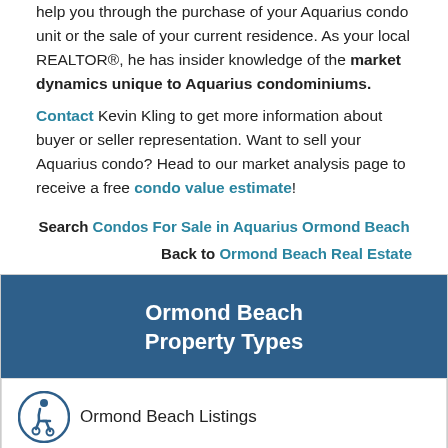help you through the purchase of your Aquarius condo unit or the sale of your current residence. As your local REALTOR®, he has insider knowledge of the market dynamics unique to Aquarius condominiums.
Contact Kevin Kling to get more information about buyer or seller representation. Want to sell your Aquarius condo? Head to our market analysis page to receive a free condo value estimate!
Search Condos For Sale in Aquarius Ormond Beach
Back to Ormond Beach Real Estate
Ormond Beach Property Types
Ormond Beach Listings
Ormond Beach Condominiums